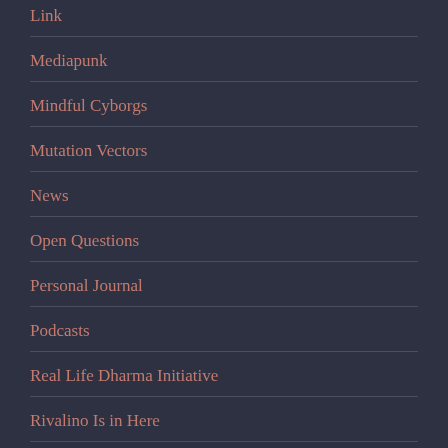Link
Mediapunk
Mindful Cyborgs
Mutation Vectors
News
Open Questions
Personal Journal
Podcasts
Real Life Dharma Initiative
Rivalino Is in Here
Text Interviews
Uncategorized